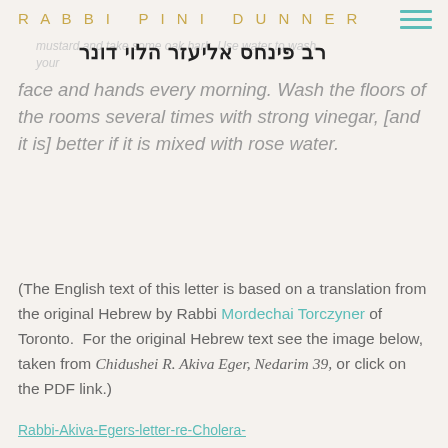RABBI PINI DUNNER / רב פינחס אליעזר הלוי דונר
face and hands every morning. Wash the floors of the rooms several times with strong vinegar, [and it is] better if it is mixed with rose water.
(The English text of this letter is based on a translation from the original Hebrew by Rabbi Mordechai Torczyner of Toronto. For the original Hebrew text see the image below, taken from Chidushei R. Akiva Eger, Nedarim 39, or click on the PDF link.)
Rabbi-Akiva-Egers-letter-re-Cholera-